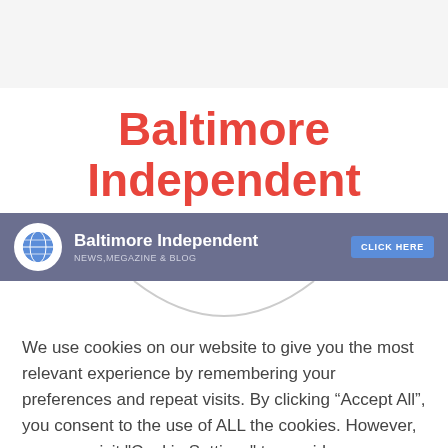Baltimore Independent
[Figure (screenshot): Baltimore Independent banner with globe icon, site name, tagline NEWS, MEGAZINE & BLOG, and a CLICK HERE button on a purple/slate background]
We use cookies on our website to give you the most relevant experience by remembering your preferences and repeat visits. By clicking “Accept All”, you consent to the use of ALL the cookies. However, you may visit "Cookie Settings" to provide a controlled consent.
Cookie Settings  Accept All